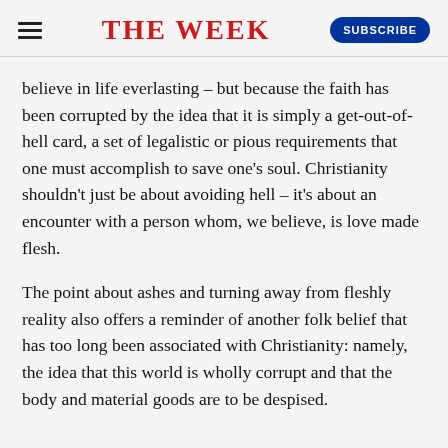THE WEEK
believe in life everlasting – but because the faith has been corrupted by the idea that it is simply a get-out-of-hell card, a set of legalistic or pious requirements that one must accomplish to save one's soul. Christianity shouldn't just be about avoiding hell – it's about an encounter with a person whom, we believe, is love made flesh.
The point about ashes and turning away from fleshly reality also offers a reminder of another folk belief that has too long been associated with Christianity: namely, the idea that this world is wholly corrupt and that the body and material goods are to be despised.